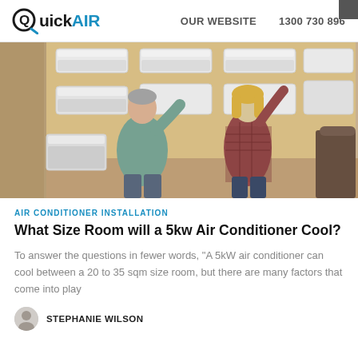QuickAIR   OUR WEBSITE   1300 730 896
[Figure (photo): Two people in an air conditioning showroom — an older man in a teal sweater and an older woman in a plaid shirt — examining wall-mounted air conditioning units displayed on a wooden wall.]
AIR CONDITIONER INSTALLATION
What Size Room will a 5kw Air Conditioner Cool?
To answer the questions in fewer words, "A 5kW air conditioner can cool between a 20 to 35 sqm size room, but there are many factors that come into play
STEPHANIE WILSON